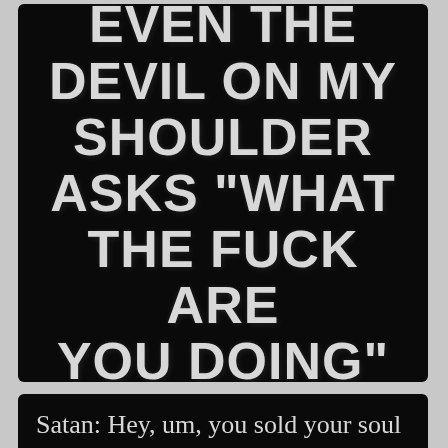[Figure (illustration): Black background image with large white chalk-style text reading: EVEN THE DEVIL ON MY SHOULDER ASKS "WHAT THE FUCK ARE YOU DOING"]
[Figure (screenshot): Black background image with white serif text: Satan: Hey, um, you sold your soul to me last week and-- Me: No returns.]